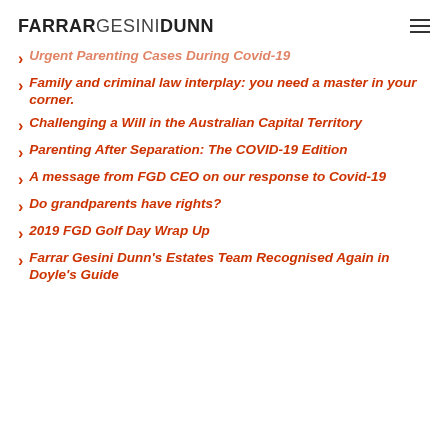FARRAR GESINI DUNN
Urgent Parenting Cases During Covid-19
Family and criminal law interplay: you need a master in your corner.
Challenging a Will in the Australian Capital Territory
Parenting After Separation: The COVID-19 Edition
A message from FGD CEO on our response to Covid-19
Do grandparents have rights?
2019 FGD Golf Day Wrap Up
Farrar Gesini Dunn's Estates Team Recognised Again in Doyle's Guide